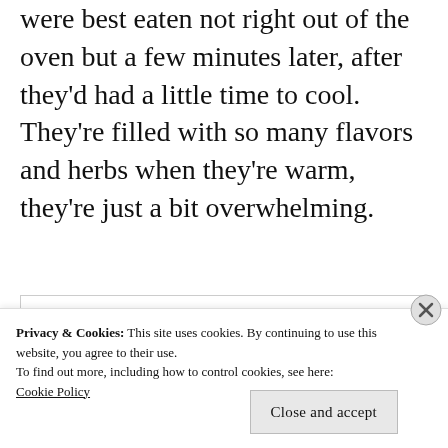were best eaten not right out of the oven but a few minutes later, after they'd had a little time to cool. They're filled with so many flavors and herbs when they're warm, they're just a bit overwhelming.
Pepperoni & Asiago
Privacy & Cookies: This site uses cookies. By continuing to use this website, you agree to their use. To find out more, including how to control cookies, see here: Cookie Policy